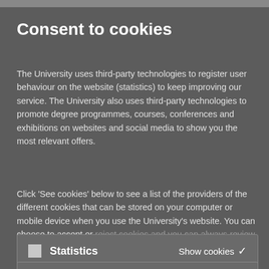Consent to cookies
The University uses third-party technologies to register user behaviour on the website (statistics) to keep improving our service. The University also uses third-party technologies to promote degree programmes, courses, conferences and exhibitions on websites and social media to show you the most relevant offers.
Click 'See cookies' below to see a list of the providers of the different cookies that can be stored on your computer or mobile device when you use the University's website. You can choose to accept or reject cookies and you can always review your consent
[Figure (screenshot): Cookie consent UI element with checkbox, 'Statistics' label, and 'Show cookies' button with chevron]
[Figure (screenshot): Second cookie consent UI element partially visible at bottom]